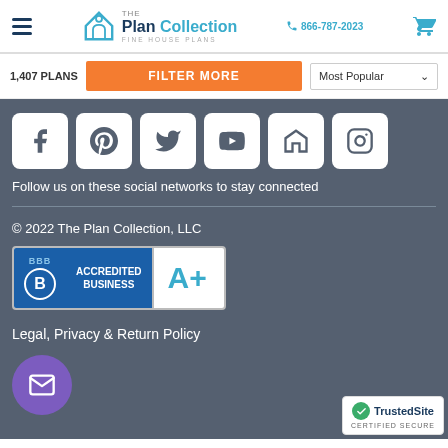The Plan Collection — Fine House Plans | 866-787-2023
1,407 PLANS
FILTER MORE
Most Popular
[Figure (logo): Social media icons: Facebook, Pinterest, Twitter, YouTube, Houzz, Instagram]
Follow us on these social networks to stay connected
© 2022 The Plan Collection, LLC
[Figure (logo): BBB Accredited Business A+ badge]
Legal, Privacy & Return Policy
[Figure (logo): TrustedSite Certified Secure badge]